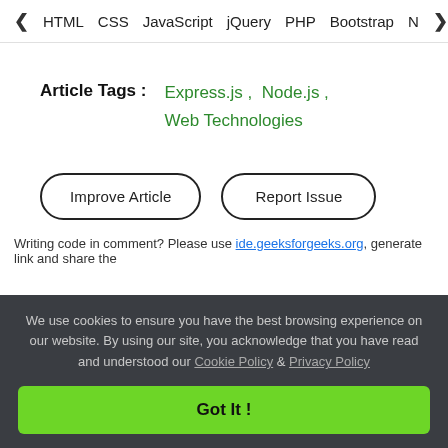< HTML   CSS   JavaScript   jQuery   PHP   Bootstrap   N>
Article Tags :   Express.js ,  Node.js ,
Web Technologies
Improve Article
Report Issue
Writing code in comment? Please use ide.geeksforgeeks.org, generate link and share the
We use cookies to ensure you have the best browsing experience on our website. By using our site, you acknowledge that you have read and understood our Cookie Policy & Privacy Policy
Got It !